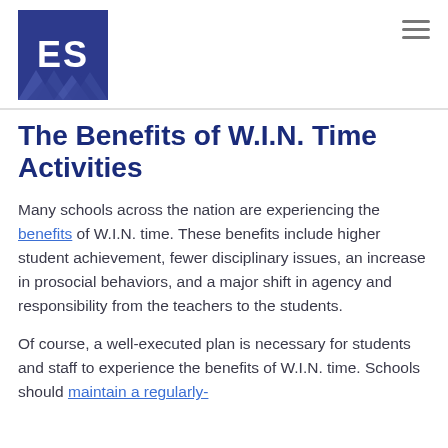[Figure (logo): Dark blue square logo with large white letters 'ES' and decorative triangles at the bottom]
The Benefits of W.I.N. Time Activities
Many schools across the nation are experiencing the benefits of W.I.N. time. These benefits include higher student achievement, fewer disciplinary issues, an increase in prosocial behaviors, and a major shift in agency and responsibility from the teachers to the students.
Of course, a well-executed plan is necessary for students and staff to experience the benefits of W.I.N. time. Schools should maintain a regularly-